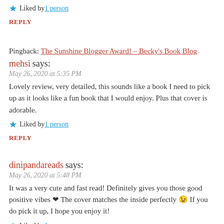Liked by 1 person
REPLY
Pingback: The Sunshine Blogger Award! – Becky's Book Blog
mehsi says:
May 26, 2020 at 5:35 PM
Lovely review, very detailed, this sounds like a book I need to pick up as it looks like a fun book that I would enjoy. Plus that cover is adorable.
Liked by 1 person
REPLY
dinipandareads says:
May 26, 2020 at 5:48 PM
It was a very cute and fast read! Definitely gives you those good positive vibes ❤ The cover matches the inside perfectly 😉 If you do pick it up, I hope you enjoy it!
Liked by 1 person